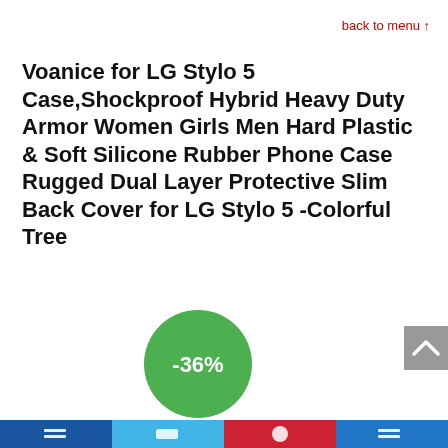back to menu ↑
Voanice for LG Stylo 5 Case,Shockproof Hybrid Heavy Duty Armor Women Girls Men Hard Plastic & Soft Silicone Rubber Phone Case Rugged Dual Layer Protective Slim Back Cover for LG Stylo 5 -Colorful Tree
[Figure (infographic): Green circular discount badge showing -36%]
[Figure (infographic): Grey scroll-to-top button with upward chevron arrow]
[Figure (infographic): Bottom navigation/social media bar with four colored sections: dark blue, light blue, red, and medium blue, each with a white icon]